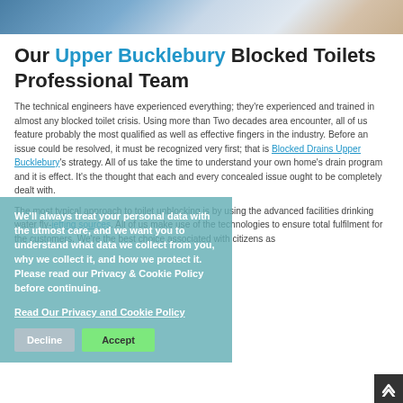[Figure (photo): Top portion of a photo showing people, partially visible at the top of the page]
Our Upper Bucklebury Blocked Toilets Professional Team
The technical engineers have experienced everything; they're experienced and trained in almost any blocked toilet crisis. Using more than Two decades area encounter, all of us feature probably the most qualified as well as effective fingers in the industry. Before an issue could be resolved, it must be recognized very first; that is Blocked Drains Upper Bucklebury's strategy. All of us take the time to understand your own home's drain program and it is effect. It's the thought that each and every concealed issue ought to be completely dealt with.

The most typical approach to toilet unblocking is by using the advanced facilities drinking water fly-jetting sources. All of us make use of the technologies to ensure total fulfilment for the customers. We're the best choice associated with citizens as
We'll always treat your personal data with the utmost care, and we want you to understand what data we collect from you, why we collect it, and how we protect it. Please read our Privacy & Cookie Policy before continuing.

Read Our Privacy and Cookie Policy